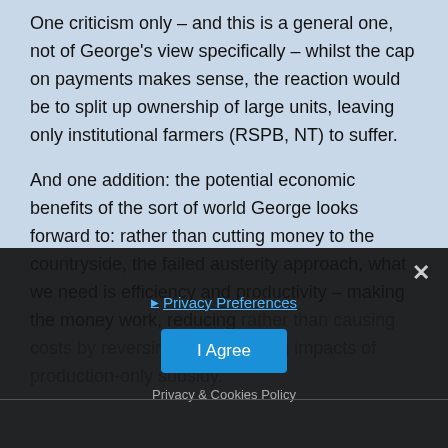One criticism only – and this is a general one, not of George's view specifically – whilst the cap on payments makes sense, the reaction would be to split up ownership of large units, leaving only institutional farmers (RSPB, NT) to suffer.
And one addition: the potential economic benefits of the sort of world George looks forward to: rather than cutting money to the countryside, the failed austerity approach, what we need is efficiency and productivity – making the money work, reducing rather than causing costs by reversing the damaging impacts of production-only subsidy.